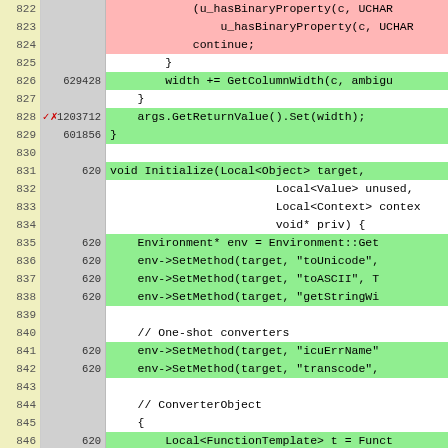[Figure (screenshot): Code coverage viewer showing C++ source lines 822-847 with line numbers, hit counts, and color-coded coverage (pink=uncovered, green=covered, white=not executable). Code includes functions for GetColumnWidth, GetReturnValue, and Initialize with SetMethod calls for toUnicode, toASCII, getStringWi, icuErrName, transcode, and a ConverterObject section with Local<FunctionTemplate>.]